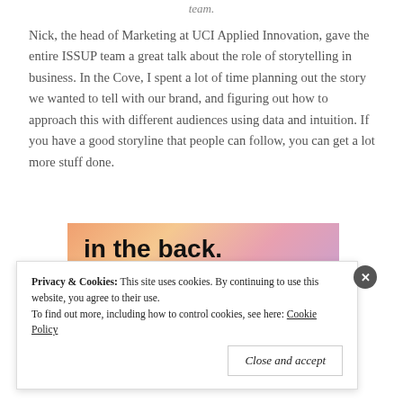team.
Nick, the head of Marketing at UCI Applied Innovation, gave the entire ISSUP team a great talk about the role of storytelling in business. In the Cove, I spent a lot of time planning out the story we wanted to tell with our brand, and figuring out how to approach this with different audiences using data and intuition. If you have a good storyline that people can follow, you can get a lot more stuff done.
[Figure (photo): Partial image showing bold text 'in the back.' on a colorful gradient background of orange, pink and purple tones.]
Privacy & Cookies: This site uses cookies. By continuing to use this website, you agree to their use. To find out more, including how to control cookies, see here: Cookie Policy
Close and accept